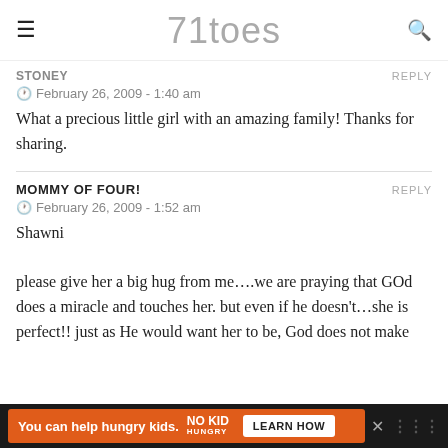71toes
STONEY    REPLY
© February 26, 2009 - 1:40 am
What a precious little girl with an amazing family! Thanks for sharing.
MOMMY OF FOUR!    REPLY
© February 26, 2009 - 1:52 am
Shawni

please give her a big hug from me….we are praying that GOd does a miracle and touches her. but even if he doesn't…she is perfect!! just as He would want her to be, God does not make mistakes. He should be kissed for the love and wisdom he showed wi... (cut off)
[Figure (other): Advertisement banner: You can help hungry kids. No Kid Hungry. Learn How.]